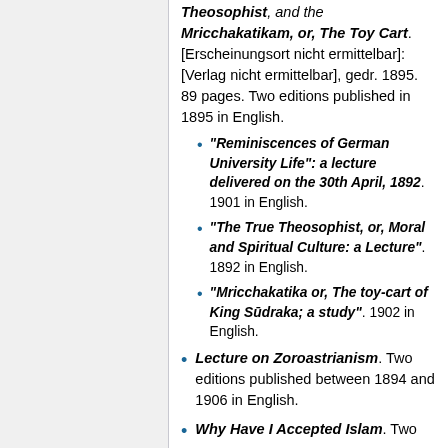Theosophist , and the Mricchakatikam, or, The Toy Cart. [Erscheinungsort nicht ermittelbar]: [Verlag nicht ermittelbar], gedr. 1895. 89 pages. Two editions published in 1895 in English.
"Reminiscences of German University Life": a lecture delivered on the 30th April, 1892. 1901 in English.
"The True Theosophist, or, Moral and Spiritual Culture: a Lecture". 1892 in English.
"Mricchakatika or, The toy-cart of King Sūdraka; a study". 1902 in English.
Lecture on Zoroastrianism. Two editions published between 1894 and 1906 in English.
Why Have I Accepted Islam. Two